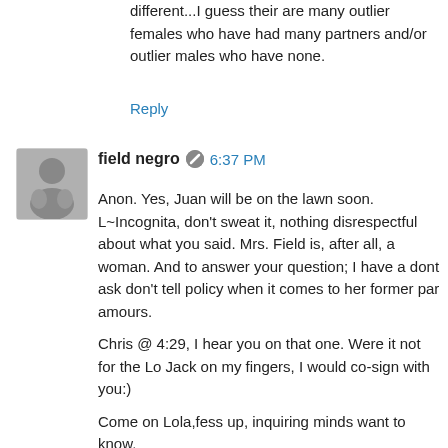different...I guess their are many outlier females who have had many partners and/or outlier males who have none.
Reply
field negro  6:37 PM
Anon. Yes, Juan will be on the lawn soon. L~Incognita, don't sweat it, nothing disrespectful about what you said. Mrs. Field is, after all, a woman. And to answer your question; I have a dont ask don't tell policy when it comes to her former par amours.

Chris @ 4:29, I hear you on that one. Were it not for the Lo Jack on my fingers, I would co-sign with you:)

Come on Lola,fess up, inquiring minds want to know.

Zimbel, you math guys kill me :)

Phil4Real, any connection between your divorce and the number of partners that year?